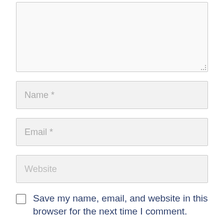[Figure (screenshot): A large textarea (comment box) with a light gray background and dotted resize handle at bottom-right]
Name *
Email *
Website
Save my name, email, and website in this browser for the next time I comment.
Notify me of follow-up comments by